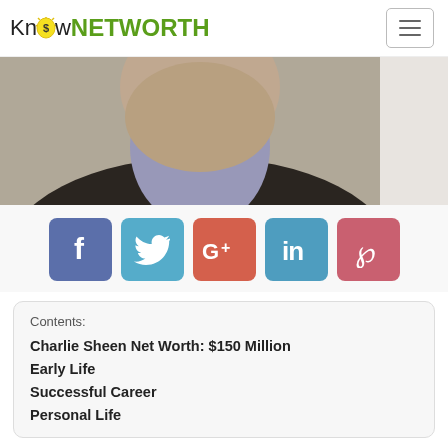KnowNETWORTH
[Figure (photo): Photo of Charlie Sheen, showing neck and chin area, wearing a dark suit jacket and lavender shirt]
[Figure (infographic): Row of five social sharing buttons: Facebook (blue), Twitter (light blue), Google+ (red-orange), LinkedIn (medium blue), Pinterest (pink-red)]
Contents:
Charlie Sheen Net Worth: $150 Million
Early Life
Successful Career
Personal Life